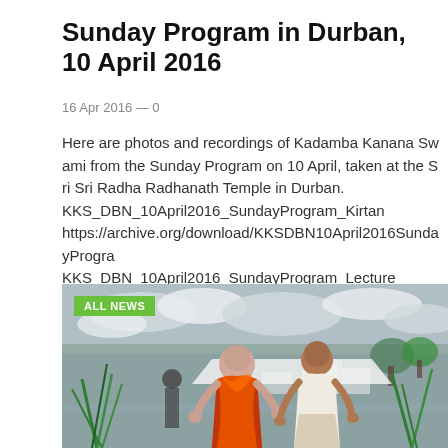Sunday Program in Durban, 10 April 2016
16 Apr 2016 — 0
Here are photos and recordings of Kadamba Kanana Swami from the Sunday Program on 10 April, taken at the Sri Sri Radha Radhanath Temple in Durban. KKS_DBN_10April2016_SundayProgram_Kirtan https://archive.org/download/KKSDBN10April2016SundayProgra KKS_DBN_10April2016_SundayProgram_Lecture https://archive.org/download/KKSDBN10April2016SundayProgra
[Figure (photo): Two men standing outdoors on a rooftop or elevated area. One is wearing orange robes (a swami), the other is in white/beige clothing. Plants and suburban landscape visible in background under cloudy sky. Green 'ALL NEWS' badge overlaid in top left.]